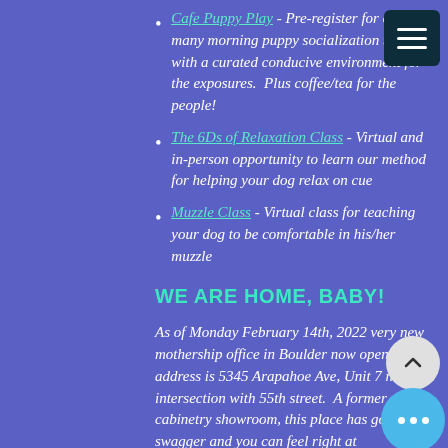Cafe Puppy Play - Pre-register for one or many morning puppy socialization time with a curated conducive environment for the exposures. Plus coffee/tea for the people!
The 6Ds of Relaxation Class - Virtual and in-person opportunity to learn our method for helping your dog relax on cue
Muzzle Class - Virtual class for teaching your dog to be comfortable in his/her muzzle
WE ARE HOME, BABY!
As of Monday February 14th, 2022 very new mothership office in Boulder now open! The address is 5345 Arapahoe Ave, Unit 7 near the intersection with 55th street. A former cabinetry showroom, this place has got some swagger and you can feel right at